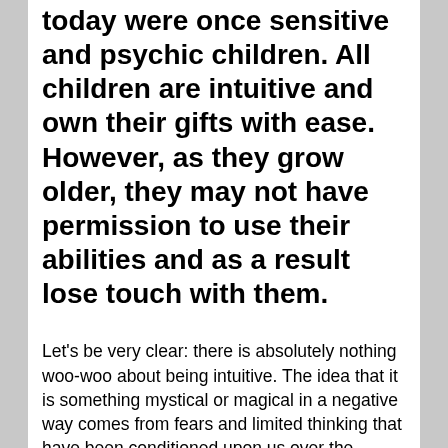today were once sensitive and psychic children. All children are intuitive and own their gifts with ease. However, as they grow older, they may not have permission to use their abilities and as a result lose touch with them.
Let's be very clear: there is absolutely nothing woo-woo about being intuitive. The idea that it is something mystical or magical in a negative way comes from fears and limited thinking that have been conditioned upon us over the